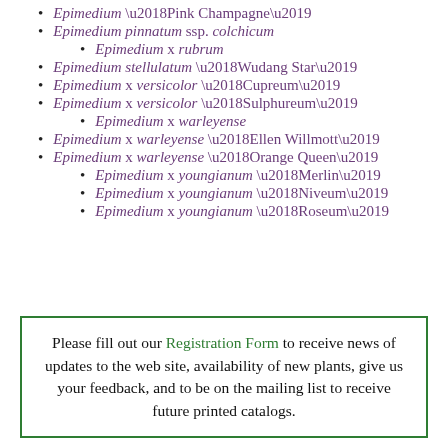Epimedium 'Pink Champagne'
Epimedium pinnatum ssp. colchicum
Epimedium x rubrum
Epimedium stellulatum 'Wudang Star'
Epimedium x versicolor 'Cupreum'
Epimedium x versicolor 'Sulphureum'
Epimedium x warleyense
Epimedium x warleyense 'Ellen Willmott'
Epimedium x warleyense 'Orange Queen'
Epimedium x youngianum 'Merlin'
Epimedium x youngianum 'Niveum'
Epimedium x youngianum 'Roseum'
Please fill out our Registration Form to receive news of updates to the web site, availability of new plants, give us your feedback, and to be on the mailing list to receive future printed catalogs.